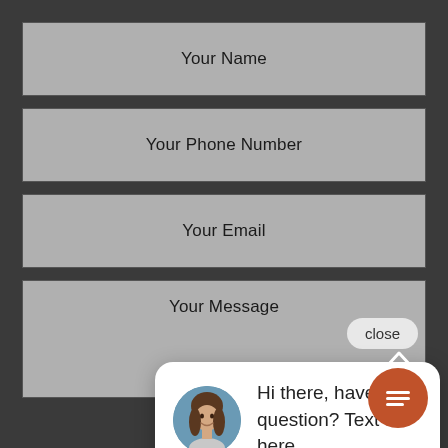[Figure (screenshot): A web contact form with four input fields (Your Name, Your Phone Number, Your Email, Your Message) on a dark background, with an overlaid chat widget popup showing a woman's avatar and the message 'Hi there, have a question? Text us here.' along with a close button and an orange chat icon button.]